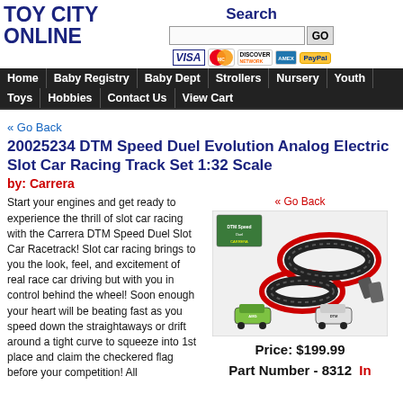[Figure (logo): Toy City Online logo in bold dark blue uppercase text]
Search
[Figure (infographic): Payment icons: VISA, MasterCard, Discover, American Express, PayPal]
Home | Baby Registry | Baby Dept | Strollers | Nursery | Youth | Toys | Hobbies | Contact Us | View Cart
« Go Back
20025234 DTM Speed Duel Evolution Analog Electric Slot Car Racing Track Set 1:32 Scale
by: Carrera
Start your engines and get ready to experience the thrill of slot car racing with the Carrera DTM Speed Duel Slot Car Racetrack! Slot car racing brings to you the look, feel, and excitement of real race car driving but with you in control behind the wheel! Soon enough your heart will be beating fast as you speed down the straightaways or drift around a tight curve to squeeze into 1st place and claim the checkered flag before your competition! All
« Go Back
[Figure (photo): Slot car racing track set product images showing figure-8 track, box art, and two DTM racing cars]
Price: $199.99
Part Number - 8312  In